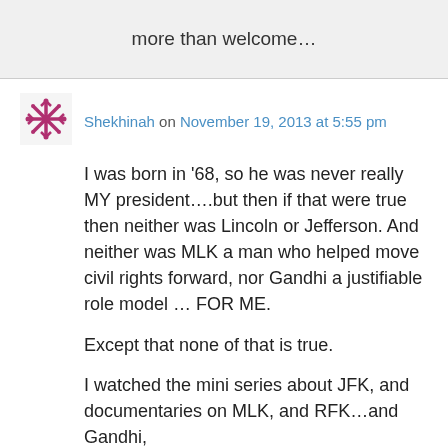more than welcome…
Shekhinah on November 19, 2013 at 5:55 pm
I was born in '68, so he was never really MY president….but then if that were true then neither was Lincoln or Jefferson. And neither was MLK a man who helped move civil rights forward, nor Gandhi a justifiable role model … FOR ME.

Except that none of that is true.

I watched the mini series about JFK, and documentaries on MLK, and RFK…and Gandhi, and I read things about Jefferson and...